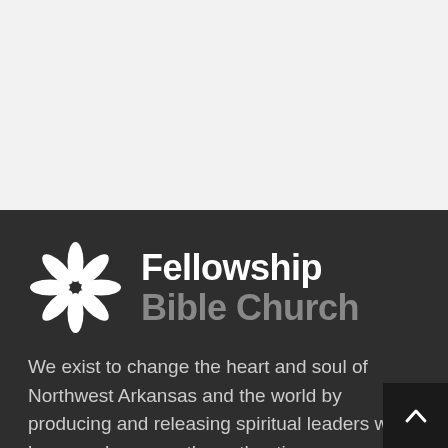[Figure (illustration): Light gray empty top section of a webpage]
[Figure (logo): Fellowship Bible Church logo — a white eight-pointed asterisk/snowflake icon to the left, with 'Fellowship' in bold white text and 'Bible Church' in bold gray text to the right, on a dark charcoal background]
We exist to change the heart and soul of Northwest Arkansas and the world by producing and releasing spiritual leaders who know and express the authentic